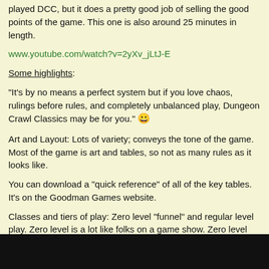played DCC, but it does a pretty good job of selling the good points of the game. This one is also around 25 minutes in length.
www.youtube.com/watch?v=2yXv_jLtJ-E
Some highlights:
"It's by no means a perfect system but if you love chaos, rulings before rules, and completely unbalanced play, Dungeon Crawl Classics may be for you." 😀
Art and Layout: Lots of variety; conveys the tone of the game. Most of the game is art and tables, so not as many rules as it looks like.
You can download a "quick reference" of all of the key tables. It's on the Goodman Games website.
Classes and tiers of play: Zero level "funnel" and regular level play. Zero level is a lot like folks on a game show. Zero level character generator on purplesorcerer.com to print out sheets. Level play is similar in philosophy to most other RPGs.
Luck stat -- thieves can get luck back quickly and roll luck dice to do stuff.
Magic -- chaotic and unpredictable; spells get stronger with higher dice